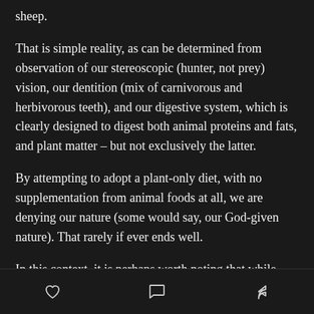...an some of rational than we are with horses, cows, or sheep.
That is simple reality, as can be determined from observation of our stereoscopic (hunter, not prey) vision, our dentition (mix of carnivorous and herbivorous teeth), and our digestive system, which is clearly designed to digest both animal proteins and fats, and plant matter – but not exclusively the latter.
By attempting to adopt a plant-only diet, with no supplementation from animal foods at all, we are denying our nature (some would say, our God-given nature). That rarely if ever ends well.
In this context, it is perhaps worth noting that while
[heart icon] [comment icon] [share icon]